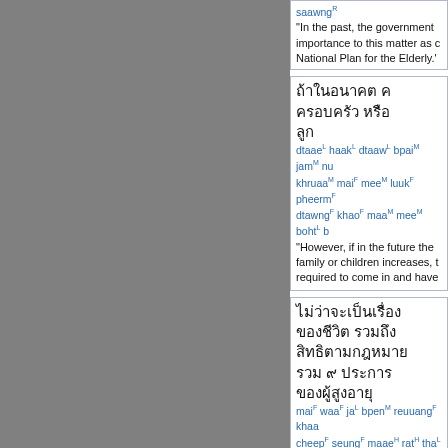saawng^R "In the past, the government importance to this matter as National Plan for the Elderly."
Thai script block 1 with romanization: dtaae^L haak^L dtaaw^L bpai^M jam^M nu khruaa^M mai^F mee^M luuk^F pheerm^F dtawng^F khao^F maa^M mee^M boht^L b
"However, if in the future the family or children increases, required to come in and have"
Thai script block 2 with romanization: mai^F waa^F ja^L bpen^M reuuang^F khaa cheep^F seung^F maae^H rat^H tha^L baa